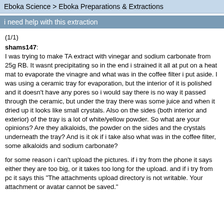Eboka Science > Eboka Preparations & Extractions
i need help with this extraction
(1/1)
shams147:
I was trying to make TA extract with vinegar and sodium carbonate from 25g RB. It wasnt precipitating so in the end i strained it all at put on a heat mat to evaporate the vinagre and what was in the coffee filter i put aside. I was using a ceramic tray for evaporation, but the interior of it is polished and it doesn't have any pores so i would say there is no way it passed through the ceramic, but under the tray there was some juice and when it dried up it looks like small crystals. Also on the sides (both interior and exterior) of the tray is a lot of white/yellow powder. So what are your opinions? Are they alkaloids, the powder on the sides and the crystals underneath the tray? And is it ok if i take also what was in the coffee filter, some alkaloids and sodium carbonate?
for some reason i can't upload the pictures. if i try from the phone it says either they are too big, or it takes too long for the upload. and if i try from pc it says this "The attachments upload directory is not writable. Your attachment or avatar cannot be saved."